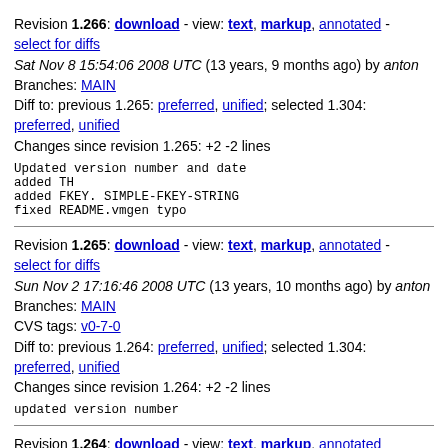Revision 1.266: download - view: text, markup, annotated - select for diffs
Sat Nov 8 15:54:06 2008 UTC (13 years, 9 months ago) by anton
Branches: MAIN
Diff to: previous 1.265: preferred, unified; selected 1.304: preferred, unified
Changes since revision 1.265: +2 -2 lines
Updated version number and date
added TH
added FKEY. SIMPLE-FKEY-STRING
fixed README.vmgen typo
Revision 1.265: download - view: text, markup, annotated - select for diffs
Sun Nov 2 17:16:46 2008 UTC (13 years, 10 months ago) by anton
Branches: MAIN
CVS tags: v0-7-0
Diff to: previous 1.264: preferred, unified; selected 1.304: preferred, unified
Changes since revision 1.264: +2 -2 lines
updated version number
Revision 1.264: download - view: text, markup, annotated